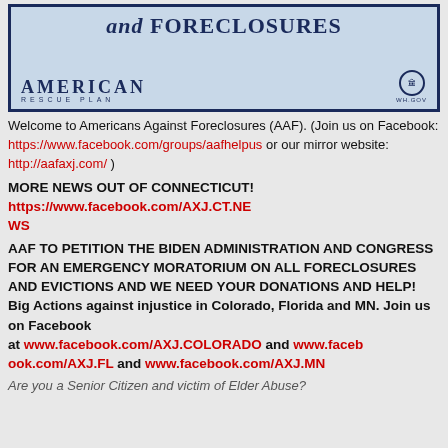[Figure (illustration): Banner image with light blue background and dark blue border showing italicized 'and FORECLOSURES' text at top, American Rescue Plan logo at bottom left, and White House seal/WH.GOV at bottom right.]
Welcome to Americans Against Foreclosures (AAF). (Join us on Facebook: https://www.facebook.com/groups/aafhelpus or our mirror website: http://aafaxj.com/ )
MORE NEWS OUT OF CONNECTICUT! https://www.facebook.com/AXJ.CT.NEWS
AAF TO PETITION THE BIDEN ADMINISTRATION AND CONGRESS FOR AN EMERGENCY MORATORIUM ON ALL FORECLOSURES AND EVICTIONS AND WE NEED YOUR DONATIONS AND HELP! Big Actions against injustice in Colorado, Florida and MN. Join us on Facebook at www.facebook.com/AXJ.COLORADO and www.facebook.com/AXJ.FL and www.facebook.com/AXJ.MN
Are you a Senior Citizen and victim of Elder Abuse?